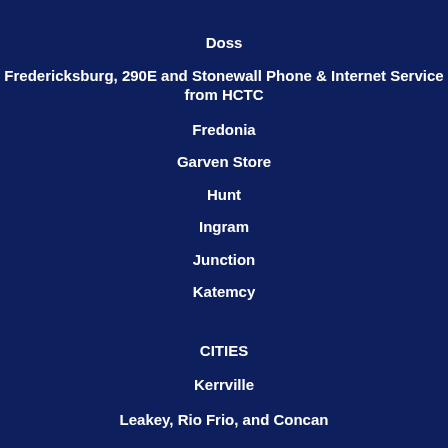Doss
Fredericksburg, 290E and Stonewall Phone & Internet Service from HCTC
Fredonia
Garven Store
Hunt
Ingram
Junction
Katemcy
CITIES
Kerrville
Leakey, Rio Frio, and Concan